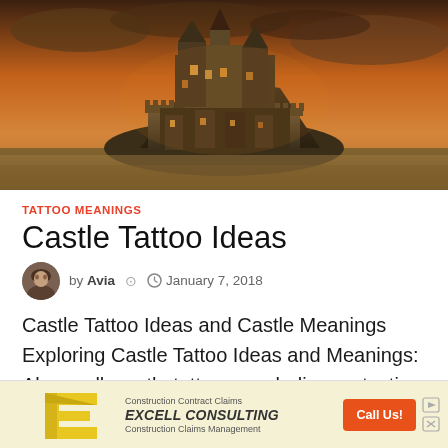[Figure (photo): Dramatic dusk photograph of a medieval castle/monastery (Mont Saint-Michel style) perched on rocky cliffs, illuminated with golden and orange tones against a stormy sky, with sandy flats below.]
TATTOO MEANINGS
Castle Tattoo Ideas
by Avia  January 7, 2018
Castle Tattoo Ideas and Castle Meanings Exploring Castle Tattoo Ideas and Meanings: Above all, castle tattoos symbolize protection and we get that understanding from their …
[Figure (infographic): Advertisement banner for Excell Consulting featuring a yellow stylized 'E' logo, text 'Construction Contract Claims', 'EXCELL CONSULTING', 'Construction Claims Management', and an orange 'Call Us!' button, with play and close icons.]